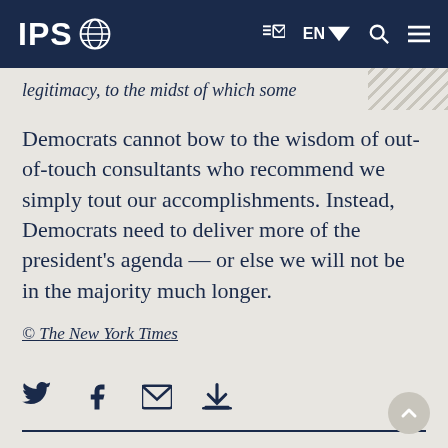IPS [logo]
legitimacy, to the midst of which some
Democrats cannot bow to the wisdom of out-of-touch consultants who recommend we simply tout our accomplishments. Instead, Democrats need to deliver more of the president's agenda — or else we will not be in the majority much longer.
© The New York Times